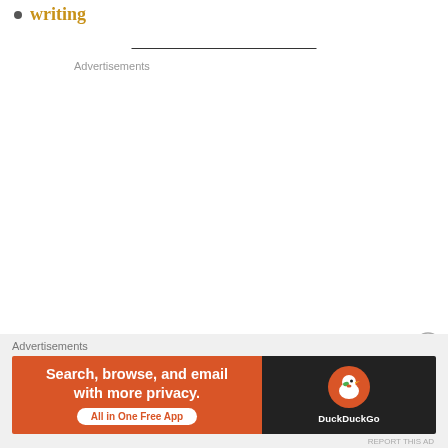writing
Advertisements
[Figure (infographic): DuckDuckGo advertisement banner: 'Search, browse, and email with more privacy. All in One Free App' on orange background with DuckDuckGo logo on dark background.]
REPORT THIS AD